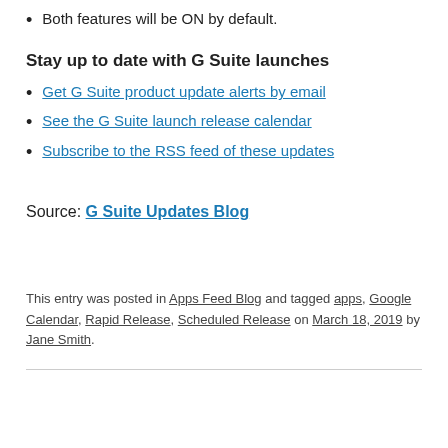Both features will be ON by default.
Stay up to date with G Suite launches
Get G Suite product update alerts by email
See the G Suite launch release calendar
Subscribe to the RSS feed of these updates
Source: G Suite Updates Blog
This entry was posted in Apps Feed Blog and tagged apps, Google Calendar, Rapid Release, Scheduled Release on March 18, 2019 by Jane Smith.